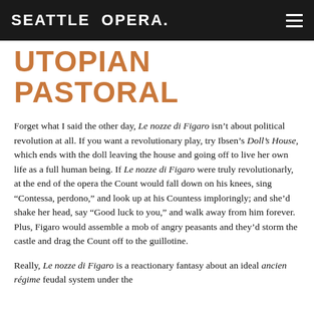SEATTLE OPERA.
UTOPIAN PASTORAL
Forget what I said the other day, Le nozze di Figaro isn't about political revolution at all. If you want a revolutionary play, try Ibsen's Doll's House, which ends with the doll leaving the house and going off to live her own life as a full human being. If Le nozze di Figaro were truly revolutionarly, at the end of the opera the Count would fall down on his knees, sing “Contessa, perdono,” and look up at his Countess imploringly; and she’d shake her head, say “Good luck to you,” and walk away from him forever. Plus, Figaro would assemble a mob of angry peasants and they’d storm the castle and drag the Count off to the guillotine.
Really, Le nozze di Figaro is a reactionary fantasy about an ideal ancien régime feudal system under the